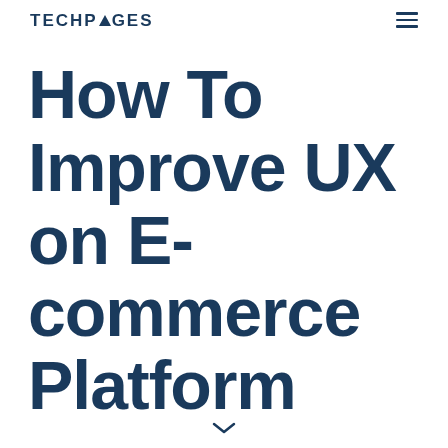TECHPAGES
How To Improve UX on E-commerce Platform